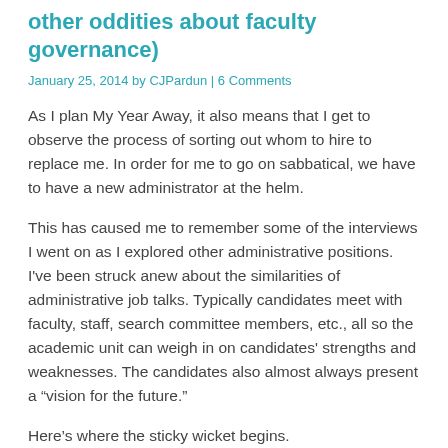other oddities about faculty governance)
January 25, 2014 by CJPardun | 6 Comments
As I plan My Year Away, it also means that I get to observe the process of sorting out whom to hire to replace me. In order for me to go on sabbatical, we have to have a new administrator at the helm.
This has caused me to remember some of the interviews I went on as I explored other administrative positions. I’ve been struck anew about the similarities of administrative job talks. Typically candidates meet with faculty, staff, search committee members, etc., all so the academic unit can weigh in on candidates’ strengths and weaknesses. The candidates also almost always present a “vision for the future.”
Here’s where the sticky wicket begins.